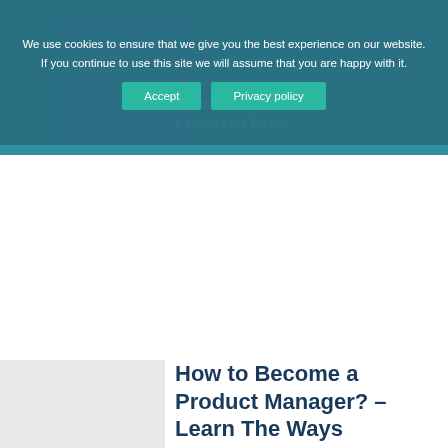[Figure (screenshot): Website header banner area with teal background showing podcast-related imagery and text 'Business Lifestyle' category and podcast article title partially visible]
We use cookies to ensure that we give you the best experience on our website. If you continue to use this site we will assume that you are happy with it.
Accept | Privacy policy
Business Lifestyle
dcasts to Listen to Now
How to Become a Product Manager? – Learn The Ways